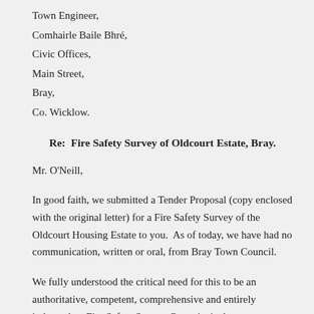Town Engineer,
Comhairle Baile Bhré,
Civic Offices,
Main Street,
Bray,
Co. Wicklow.
Re:  Fire Safety Survey of Oldcourt Estate, Bray.
Mr. O'Neill,
In good faith, we submitted a Tender Proposal (copy enclosed with the original letter) for a Fire Safety Survey of the Oldcourt Housing Estate to you.  As of today, we have had no communication, written or oral, from Bray Town Council.
We fully understood the critical need for this to be an authoritative, competent, comprehensive and entirely independent Fire Safety Survey. Our principal concern was that this must be shown to be so, especially to local residents.  We remain uniquely qualified, in Ireland and Europe, to